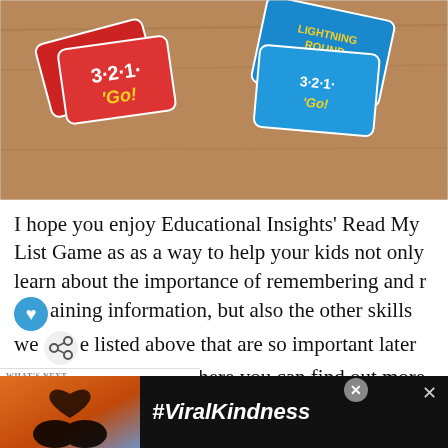[Figure (photo): Photo of red and blue card game cards (3-2-1 Go! and Lightning Round) spread on a wooden table surface]
I hope you enjoy Educational Insights' Read My List Game as as a way to help your kids not only learn about the importance of remembering and retaining information, but also the other skills we have listed above that are so important later in their life. Here is where you can find out more about Educational Insights:
Facebook: https://www.facebook.com/educatio
[Figure (infographic): Black advertisement banner at bottom showing hands making a heart shape with text #ViralKindness, with close and X buttons]